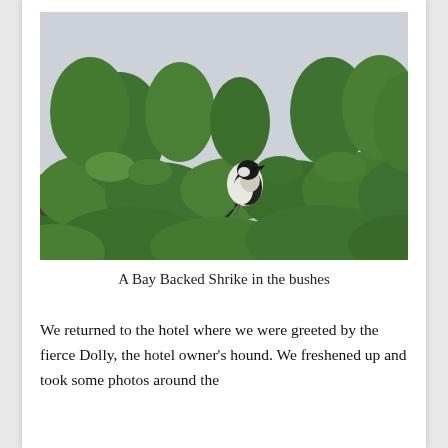[Figure (photo): A Bay Backed Shrike bird perched on a leafy green bush branch against a pale grey sky background.]
A Bay Backed Shrike in the bushes
We returned to the hotel where we were greeted by the fierce Dolly, the hotel owner's hound. We freshened up and took some photos around the